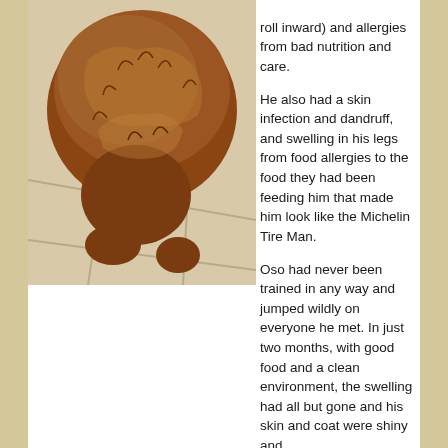[Figure (photo): A golden/reddish-brown fluffy dog (likely a Cocker Spaniel or similar breed) photographed from above, laying or sitting on a tile floor. The dog's fur is thick and reddish-brown.]
roll inward) and allergies from bad nutrition and care.

He also had a skin infection and dandruff, and swelling in his legs from food allergies to the food they had been feeding him that made him look like the Michelin Tire Man.

Oso had never been trained in any way and jumped wildly on everyone he met. In just two months, with good food and a clean environment, the swelling had all but gone and his skin and coat were shiny and